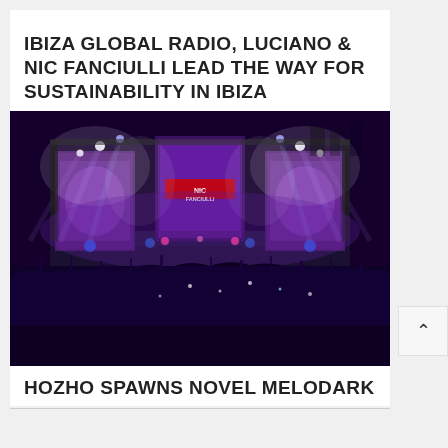IBIZA GLOBAL RADIO, LUCIANO & NIC FANCIULLI LEAD THE WAY FOR SUSTAINABILITY IN IBIZA
[Figure (photo): Concert stage with purple and blue lights, smoke effects, large LED screens showing 'NIC FANCIULLI' text, large crowd in the foreground at night]
HOZHO SPAWNS NOVEL MELODARK